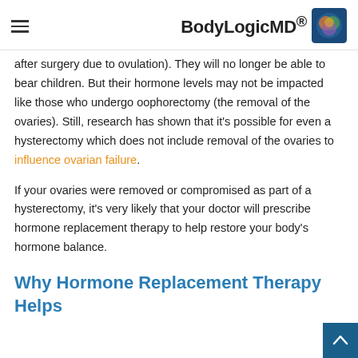BodyLogicMD
after surgery due to ovulation). They will no longer be able to bear children. But their hormone levels may not be impacted like those who undergo oophorectomy (the removal of the ovaries). Still, research has shown that it's possible for even a hysterectomy which does not include removal of the ovaries to influence ovarian failure.
If your ovaries were removed or compromised as part of a hysterectomy, it's very likely that your doctor will prescribe hormone replacement therapy to help restore your body's hormone balance.
Why Hormone Replacement Therapy Helps